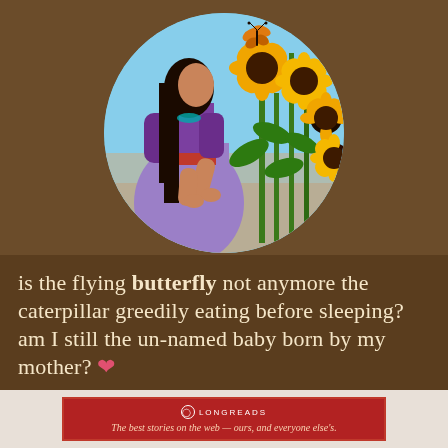[Figure (illustration): Circular illustration of a Native American woman in purple dress bending toward tall sunflowers, with a butterfly above on a light blue sky background]
is the flying butterfly not anymore the caterpillar greedily eating before sleeping? am I still the un-named baby born by my mother? ❤
[Figure (logo): Longreads banner: The best stories on the web — ours, and everyone else's.]